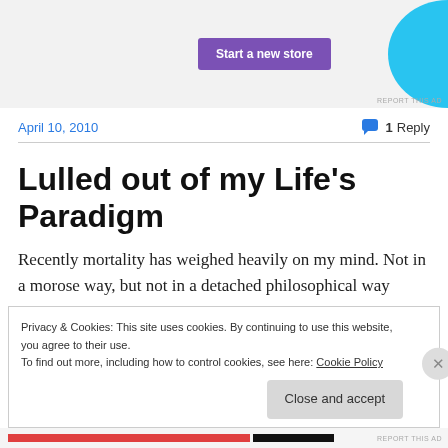[Figure (other): Advertisement banner with purple 'Start a new store' button and blue decorative shape on right, with 'REPORT THIS AD' label]
April 10, 2010
1 Reply
Lulled out of my Life's Paradigm
Recently mortality has weighed heavily on my mind. Not in a morose way, but not in a detached philosophical way
Privacy & Cookies: This site uses cookies. By continuing to use this website, you agree to their use.
To find out more, including how to control cookies, see here: Cookie Policy
Close and accept